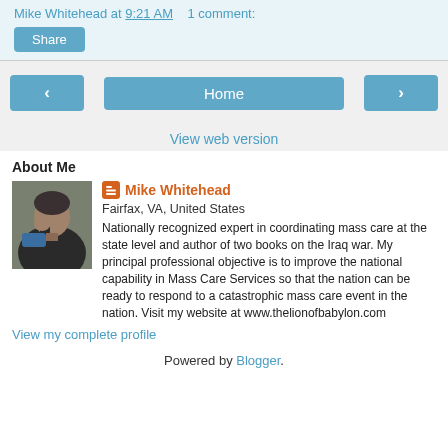Mike Whitehead at 9:21 AM    1 comment:
[Figure (other): Share button]
[Figure (other): Navigation buttons: left arrow, Home, right arrow]
View web version
About Me
[Figure (photo): Profile photo of Mike Whitehead, a man in dark clothing]
Mike Whitehead
Fairfax, VA, United States
Nationally recognized expert in coordinating mass care at the state level and author of two books on the Iraq war. My principal professional objective is to improve the national capability in Mass Care Services so that the nation can be ready to respond to a catastrophic mass care event in the nation. Visit my website at www.thelionofbabylon.com
View my complete profile
Powered by Blogger.